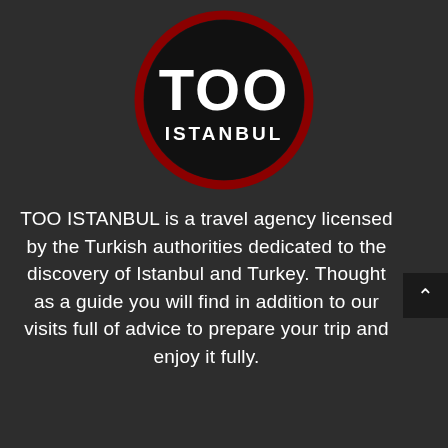[Figure (logo): TOO ISTANBUL logo: black circle with dark red border, white bold text 'TOO' with two circular O letters and 'ISTANBUL' below]
TOO ISTANBUL is a travel agency licensed by the Turkish authorities dedicated to the discovery of Istanbul and Turkey. Thought as a guide you will find in addition to our visits full of advice to prepare your trip and enjoy it fully.